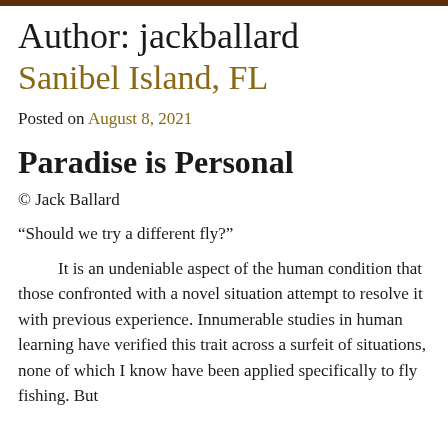Author: jackballard
Sanibel Island, FL
Posted on August 8, 2021
Paradise is Personal
© Jack Ballard
“Should we try a different fly?”
It is an undeniable aspect of the human condition that those confronted with a novel situation attempt to resolve it with previous experience. Innumerable studies in human learning have verified this trait across a surfeit of situations, none of which I know have been applied specifically to fly fishing. But